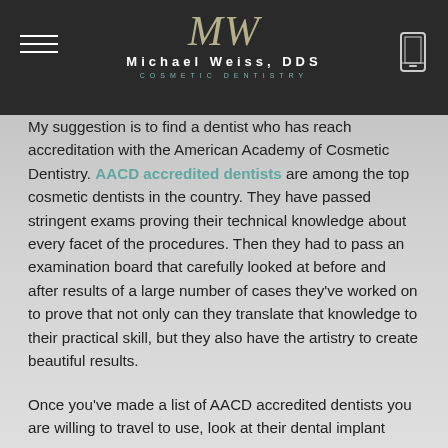Michael Weiss, DDS — COSMETIC DENTISTRY
My suggestion is to find a dentist who has reach accreditation with the American Academy of Cosmetic Dentistry. AACD accredited dentists are among the top cosmetic dentists in the country. They have passed stringent exams proving their technical knowledge about every facet of the procedures. Then they had to pass an examination board that carefully looked at before and after results of a large number of cases they've worked on to prove that not only can they translate that knowledge to their practical skill, but they also have the artistry to create beautiful results.
Once you've made a list of AACD accredited dentists you are willing to travel to use, look at their dental implant